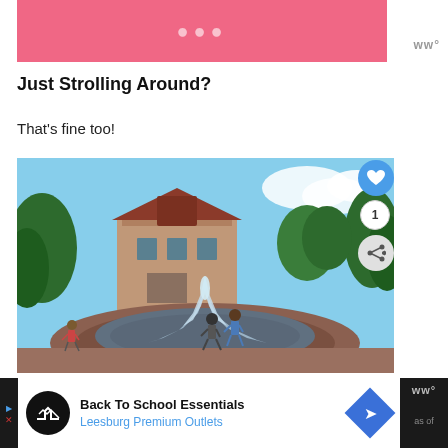[Figure (other): Pink banner with dots at top of page, partially cropped]
Just Strolling Around?
That's fine too!
[Figure (photo): Outdoor photo of a fountain in a park plaza with children playing near it, a Mediterranean-style building in the background, and trees. Social interaction buttons (heart/like button showing count of 1, and a share button) overlaid on the right side.]
[Figure (other): Advertisement bar at bottom: Back To School Essentials - Leesburg Premium Outlets, with navigation arrow icon]